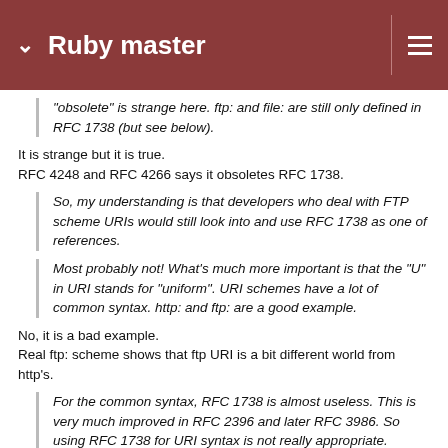Ruby master
"obsolete" is strange here. ftp: and file: are still only defined in RFC 1738 (but see below).
It is strange but it is true.
RFC 4248 and RFC 4266 says it obsoletes RFC 1738.
So, my understanding is that developers who deal with FTP scheme URIs would still look into and use RFC 1738 as one of references.
Most probably not! What's much more important is that the "U" in URI stands for "uniform". URI schemes have a lot of common syntax. http: and ftp: are a good example.
No, it is a bad example.
Real ftp: scheme shows that ftp URI is a bit different world from http's.
For the common syntax, RFC 1738 is almost useless. This is very much improved in RFC 2396 and later RFC 3986. So using RFC 1738 for URI syntax is not really appropriate.